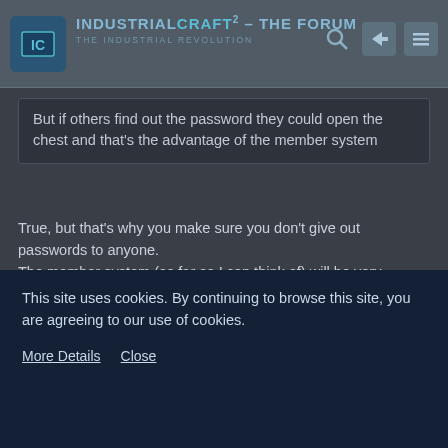IndustrialCraft² - The Forum – The Industrial Revolution
But if others find out the password they could open the chest and that's the advantage of the member system
True, but that's why you make sure you don't give out passwords to anyone.
The member system (as far as I can think of) will be very complicated to code, not to mention how it will be complicated to use, and might be buggy.
max96at
Tree Cutter
This site uses cookies. By continuing to browse this site, you are agreeing to our use of cookies.
More Details   Close